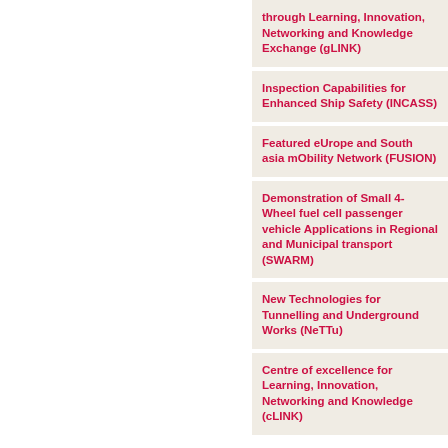through Learning, Innovation, Networking and Knowledge Exchange (gLINK)
Inspection Capabilities for Enhanced Ship Safety (INCASS)
Featured eUrope and South asia mObility Network (FUSION)
Demonstration of Small 4-Wheel fuel cell passenger vehicle Applications in Regional and Municipal transport (SWARM)
New Technologies for Tunnelling and Underground Works (NeTTu)
Centre of excellence for Learning, Innovation, Networking and Knowledge (cLINK)